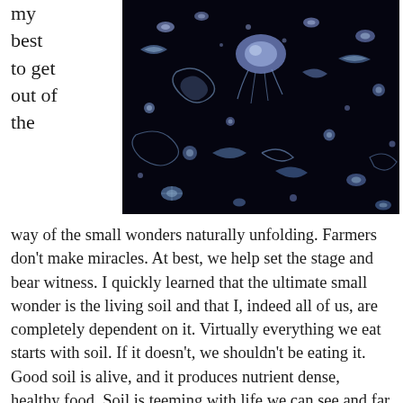my best to get out of the
[Figure (photo): Close-up photograph of various microorganisms and plankton on a dark/black background, appearing as bioluminescent or illustrated specimens in blue/white tones]
way of the small wonders naturally unfolding. Farmers don't make miracles. At best, we help set the stage and bear witness. I quickly learned that the ultimate small wonder is the living soil and that I, indeed all of us, are completely dependent on it. Virtually everything we eat starts with soil. If it doesn't, we shouldn't be eating it. Good soil is alive, and it produces nutrient dense, healthy food. Soil is teeming with life we can see and far more that we cannot. A single handful can contain more microorganisms than the humans that live and have ever lived on the planet. (Kiss the Soil, Josh Tickell)  As a